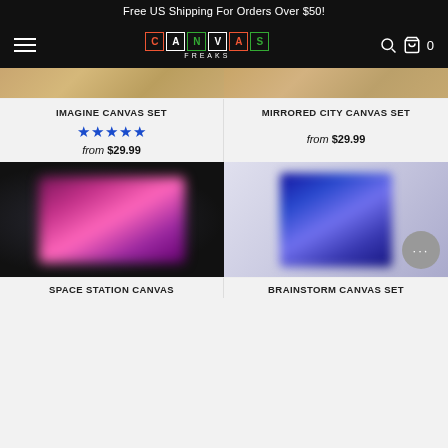Free US Shipping For Orders Over $50!
[Figure (logo): Canvas Freaks logo on black navigation bar with hamburger menu, search icon, cart icon showing 0 items]
[Figure (photo): Imagine Canvas Set product image - wooden wall display, blurred]
IMAGINE CANVAS SET
★★★★★ from $29.99
[Figure (photo): Mirrored City Canvas Set product image - wooden display, blurred]
MIRRORED CITY CANVAS SET
from $29.99
[Figure (photo): Space Station Canvas Set product image - dark room with colorful canvas, blurred]
[Figure (photo): Brainstorm Canvas Set product image - light room with blue/purple canvas, blurred]
SPACE STATION CANVAS
BRAINSTORM CANVAS SET